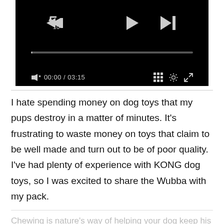[Figure (screenshot): Video player with black background showing playback controls: rewind 10s button, play button, skip-to-next button, a progress bar at 00:00 / 03:15, volume (muted) icon, grid icon, settings gear icon, and fullscreen expand icon.]
I hate spending money on dog toys that my pups destroy in a matter of minutes. It's frustrating to waste money on toys that claim to be well made and turn out to be of poor quality. I've had plenty of experience with KONG dog toys, so I was excited to share the Wubba with my pack.
Chewing is nature's way of helping your dog keep his